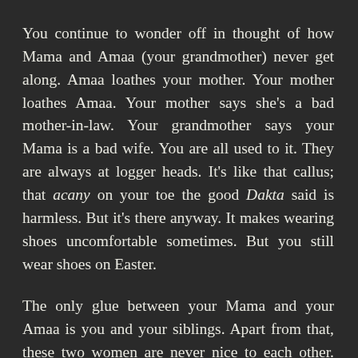You continue to wonder off in thought of how Mama and Amaa (your grandmother) never get along. Amaa loathes your mother. Your mother loathes Amaa. Your mother says she's a bad mother-in-law. Your grandmother says your Mama is a bad wife. You are all used to it. They are always at logger heads. It's like that callus; that acany on your toe the good Dakta said is harmless. But it's there anyway. It makes wearing shoes uncomfortable sometimes. But you still wear shoes on Easter.
The only glue between your Mama and your Amaa is you and your siblings. Apart from that, these two women are never nice to each other. There is always a frightening cold war between them, except for where you are concerned. So they tolerate each other under